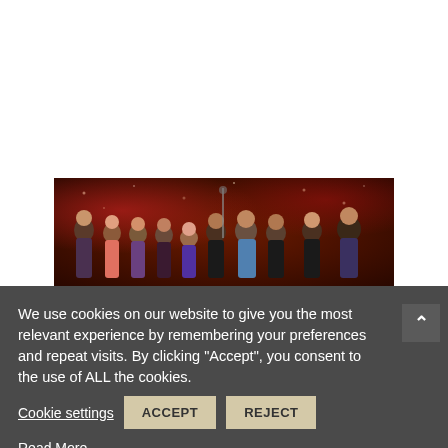[Figure (photo): Group photo of approximately 10 people standing together in front of a decorative backdrop with red/dark bokeh lighting. Mix of men and women, casual attire.]
We use cookies on our website to give you the most relevant experience by remembering your preferences and repeat visits. By clicking "Accept", you consent to the use of ALL the cookies.
Cookie settings
ACCEPT
REJECT
Read More